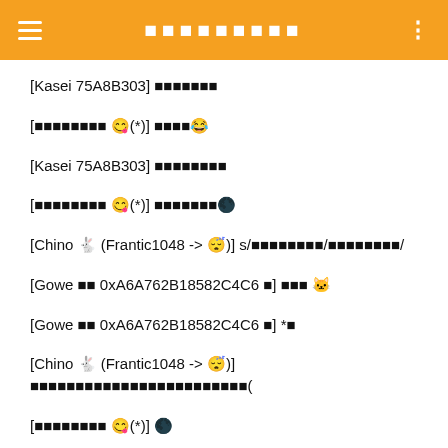■■■■■■■■■
[Kasei 75A8B303] ■■■■■■■
[■■■■■■■■ 😋(*)] ■■■■😂
[Kasei 75A8B303] ■■■■■■■■
[■■■■■■■■ 😋(*)] ■■■■■■■🌑
[Chino 🐇 (Frantic1048 -> 😴)] s/■■■■■■■■/■■■■■■■■/
[Gowe ■■ 0xA6A762B18582C4C6 ■] ■■■ 🐱
[Gowe ■■ 0xA6A762B18582C4C6 ■] *■
[Chino 🐇 (Frantic1048 -> 😴)] ■■■■■■■■■■■■■■■■■■■■■■■■(
[■■■■■■■■ 😋(*)] 🌑
[David Huang] 🌑👍